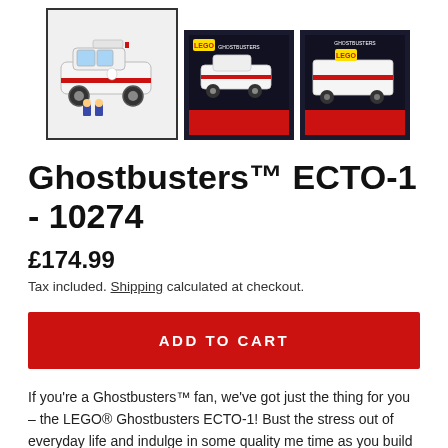[Figure (photo): Three product images of LEGO Ghostbusters ECTO-1 set 10274. Left image (selected/highlighted) shows the assembled white ECTO-1 car with minifigures. Middle and right images show the product box.]
Ghostbusters™ ECTO-1 - 10274
£174.99
Tax included. Shipping calculated at checkout.
ADD TO CART
If you're a Ghostbusters™ fan, we've got just the thing for you – the LEGO® Ghostbusters ECTO-1! Bust the stress out of everyday life and indulge in some quality me time as you build a